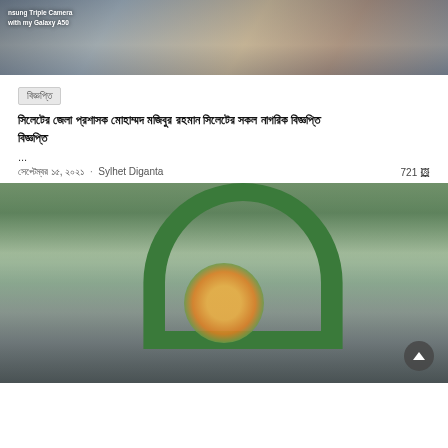[Figure (photo): Group photo of people at an indoor event, with Samsung Triple Camera watermark overlay. Text reads 'nsung Triple Camera' and 'with my Galaxy A50'.]
বিজ্ঞপ্তি
সিলেটের জেলা প্রশাসক মোহাম্মদ মজিবুর রহমান সিলেটের সকল নাগরিক বিজ্ঞপ্তি
...
সেপ্টেম্বর ১৫, ২০২১  ·  Sylhet Diganta    721 🖼
[Figure (photo): Group photo of men standing in front of a green arch/monument, holding a flower wreath with Bengali text on a card in the center.]